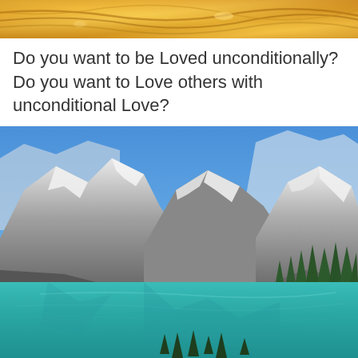[Figure (photo): Close-up of golden/amber textured surface, possibly a decorative golden background or honeycomb-like material]
Do you want to be Loved unconditionally? Do you want to Love others with unconditional Love?
[Figure (photo): Mountain lake landscape with turquoise water (Moraine Lake, Banff), snow-capped rocky mountains in background, evergreen trees on right shore, clear blue sky]